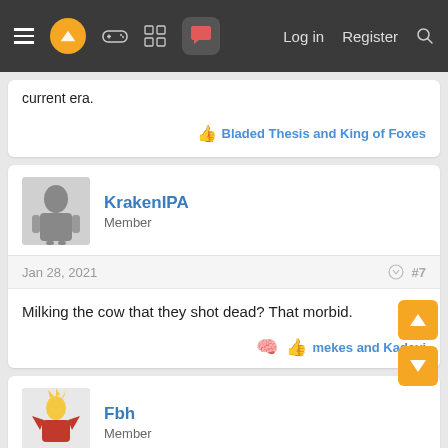[Figure (screenshot): Forum website navigation bar with hamburger menu, logo, game controller icon, grid icon, chat icon (highlighted), Log in, Register, and search icons]
current era.
Bladed Thesis and King of Foxes
KrakenIPA
Member
Jan 28, 2021
#7
Milking the cow that they shot dead? That morbid.
mekes and Kadayi
Fbh
Member